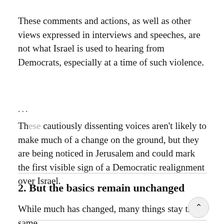These comments and actions, as well as other views expressed in interviews and speeches, are not what Israel is used to hearing from Democrats, especially at a time of such violence.
These cautiously dissenting voices aren't likely to make much of a change on the ground, but they are being noticed in Jerusalem and could mark the first visible sign of a Democratic realignment over Israel.
2. But the basics remain unchanged
While much has changed, many things stay the same.